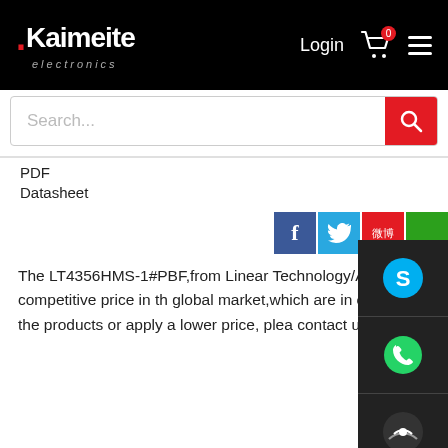[Figure (screenshot): Kaimeite Electronics website header with logo, Login button, cart icon with badge 0, and hamburger menu on black background]
[Figure (screenshot): Search bar with placeholder text 'Search...' and red search button]
PDF
Datasheet
[Figure (screenshot): Social share icons: Facebook (blue), Twitter (light blue), Weibo (red), and another icon partially visible]
The LT4356HMS-1#PBF,from Linear Technology/Analog Dev Surge Suppressors.what we offer have competitive price in th global market,which are in original and new parts.If you wou to know more about the products or apply a lower price, plea contact us through the "online chat" or send a quote to us!
Specificati
Package
Payment
Shipping
Co
| Product Category : | Surge Suppres |
| --- | --- |